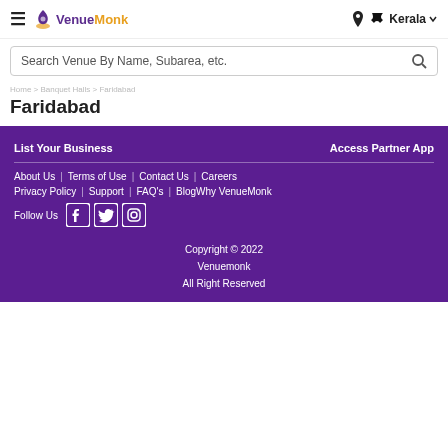VenueMonk | Kerala
Search Venue By Name, Subarea, etc.
Faridabad
List Your Business
Access Partner App
About Us | Terms of Use | Contact Us | Careers
Privacy Policy | Support | FAQ's | BlogWhy VenueMonk
Follow Us
Copyright © 2022 Venuemonk All Right Reserved